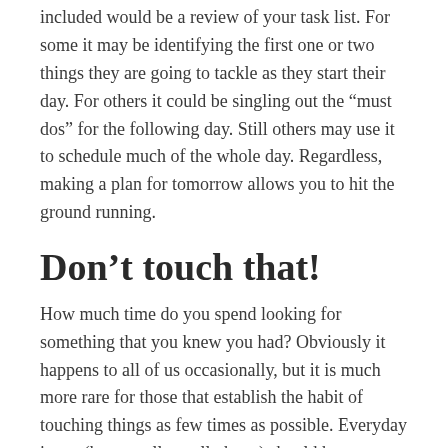included would be a review of your task list. For some it may be identifying the first one or two things they are going to tackle as they start their day. For others it could be singling out the “must dos” for the following day. Still others may use it to schedule much of the whole day. Regardless, making a plan for tomorrow allows you to hit the ground running.
Don’t touch that!
How much time do you spend looking for something that you knew you had? Obviously it happens to all of us occasionally, but it is much more rare for those that establish the habit of touching things as few times as possible. Everyday items (keys, wallet, cell phone) should have a standard location they land in each time you arrive at your home or office. Have a plan for dealing with mail, paper, or other items that